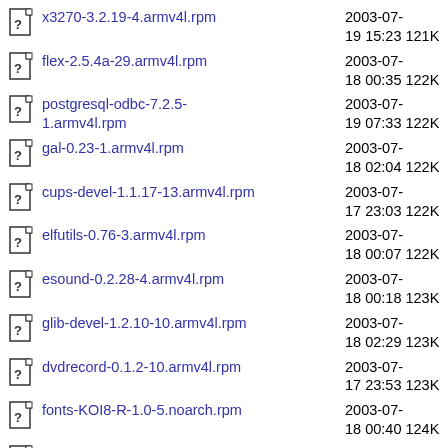x3270-3.2.19-4.armv4l.rpm  2003-07-19 15:23  121K
flex-2.5.4a-29.armv4l.rpm  2003-07-18 00:35  122K
postgresql-odbc-7.2.5-1.armv4l.rpm  2003-07-19 07:33  122K
gal-0.23-1.armv4l.rpm  2003-07-18 02:04  122K
cups-devel-1.1.17-13.armv4l.rpm  2003-07-17 23:03  122K
elfutils-0.76-3.armv4l.rpm  2003-07-18 00:07  122K
esound-0.2.28-4.armv4l.rpm  2003-07-18 00:18  123K
glib-devel-1.2.10-10.armv4l.rpm  2003-07-18 02:29  123K
dvdrecord-0.1.2-10.armv4l.rpm  2003-07-17 23:53  123K
fonts-KOI8-R-1.0-5.noarch.rpm  2003-07-18 00:40  124K
e2fsprogs-devel-1.32-6.armv4l.rpm  2003-07-17 23:51  124K